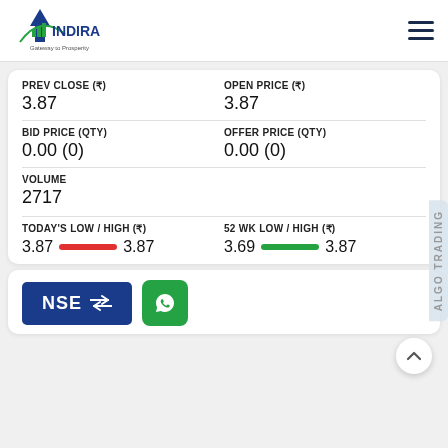[Figure (logo): Indira Securities logo with tagline 'Gateway to Prosperity']
PREV CLOSE (₹)
3.87
OPEN PRICE (₹)
3.87
BID PRICE (QTY)
0.00 (0)
OFFER PRICE (QTY)
0.00 (0)
VOLUME
2717
TODAY'S LOW / HIGH (₹)
3.87  3.87
52 WK LOW / HIGH (₹)
3.69  3.87
[Figure (logo): NSE exchange button with transfer arrows icon]
[Figure (other): WhatsApp contact button]